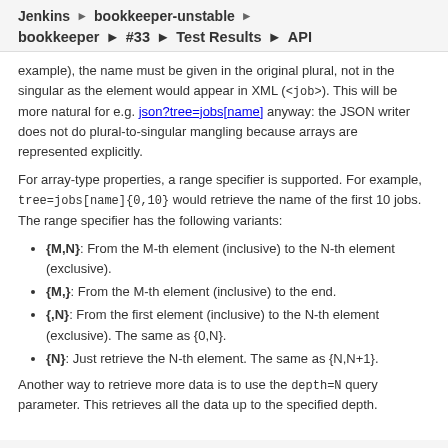Jenkins › bookkeeper-unstable ›
bookkeeper › #33 › Test Results › API
example), the name must be given in the original plural, not in the singular as the element would appear in XML (<job>). This will be more natural for e.g. json?tree=jobs[name] anyway: the JSON writer does not do plural-to-singular mangling because arrays are represented explicitly.
For array-type properties, a range specifier is supported. For example, tree=jobs[name]{0,10} would retrieve the name of the first 10 jobs. The range specifier has the following variants:
{M,N}: From the M-th element (inclusive) to the N-th element (exclusive).
{M,}: From the M-th element (inclusive) to the end.
{,N}: From the first element (inclusive) to the N-th element (exclusive). The same as {0,N}.
{N}: Just retrieve the N-th element. The same as {N,N+1}.
Another way to retrieve more data is to use the depth=N query parameter. This retrieves all the data up to the specified depth.